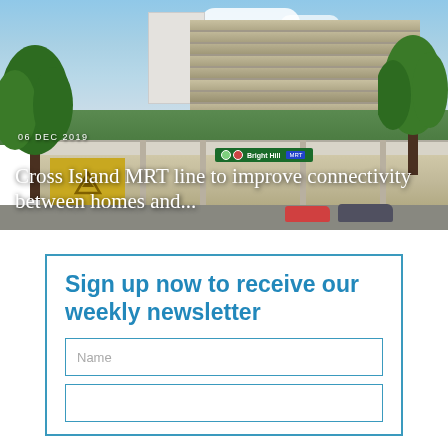[Figure (photo): Architectural rendering of Bright Hill MRT station on the Cross Island Line, showing a modern building with metallic louvered facade, trees on either side, gold SMRT logo, and green station sign reading 'Bright Hill'. Overlaid with date '06 DEC 2019' and headline text.]
06 DEC 2019
Cross Island MRT line to improve connectivity between homes and...
Sign up now to receive our weekly newsletter
Name